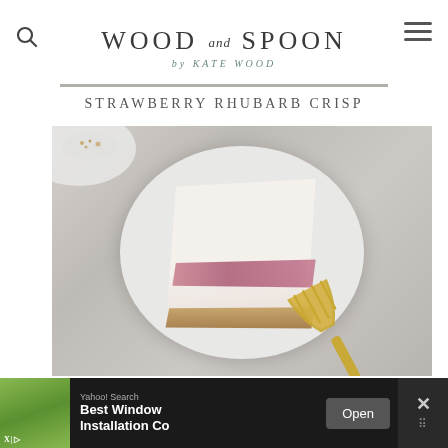WOOD and SPOON by KATE WOOD
STRAWBERRY RHUBARB CRISP
[Figure (photo): Overhead photo of a slice of strawberry rhubarb cheesecake on a white plate with a gold fork, on a marble surface. A second plate with crumbs is visible in the upper left corner.]
[Figure (photo): Advertisement banner: Yahoo! Search - Best Window Installation Co, with an Open button and a close X button]